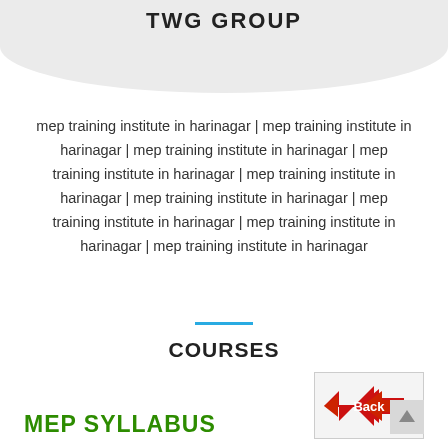TWG GROUP
mep training institute in harinagar | mep training institute in harinagar | mep training institute in harinagar | mep training institute in harinagar | mep training institute in harinagar | mep training institute in harinagar | mep training institute in harinagar | mep training institute in harinagar | mep training institute in harinagar
COURSES
[Figure (other): Red back arrow button with white 'Back' text label]
MEP SYLLABUS